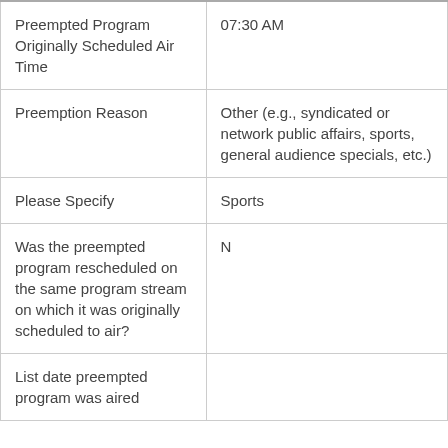| Preempted Program Originally Scheduled Air Time | 07:30 AM |
| Preemption Reason | Other (e.g., syndicated or network public affairs, sports, general audience specials, etc.) |
| Please Specify | Sports |
| Was the preempted program rescheduled on the same program stream on which it was originally scheduled to air? | N |
| List date preempted program was aired |  |